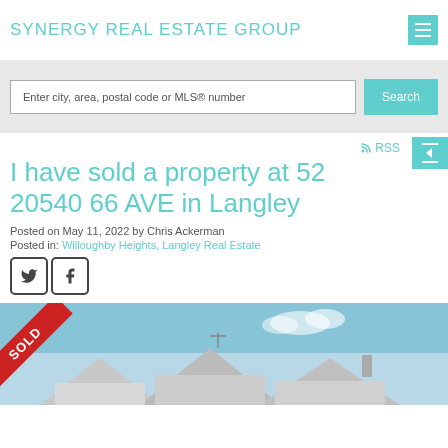SYNERGY REAL ESTATE GROUP
Enter city, area, postal code or MLS® number
RSS
I have sold a property at 52 20540 66 AVE in Langley
Posted on May 11, 2022 by Chris Ackerman
Posted in: Willoughby Heights, Langley Real Estate
[Figure (photo): Property image with SOLD red diagonal banner across the upper left corner, showing rooftops of townhouses against a blue sky]